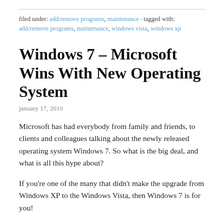filed under: add/remove programs, maintenance · tagged with: add/remove programs, maintenance, windows vista, windows xp
Windows 7 – Microsoft Wins With New Operating System
january 17, 2010
Microsoft has had everybody from family and friends, to clients and colleagues talking about the newly released operating system Windows 7. So what is the big deal, and what is all this hype about?
If you're one of the many that didn't make the upgrade from Windows XP to the Windows Vista, then Windows 7 is for you!